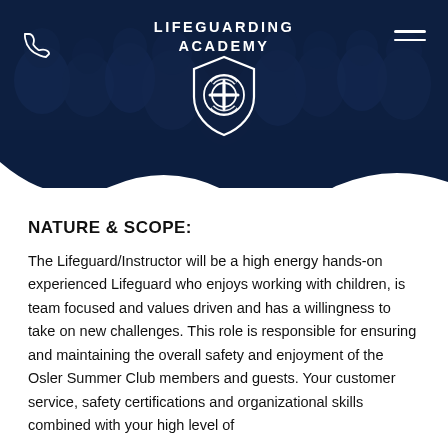[Figure (illustration): Lifeguarding Academy header with dark navy background showing group of people, white shield logo with lifesaver ring and cross, phone icon on left, hamburger menu on right]
NATURE & SCOPE:
The Lifeguard/Instructor will be a high energy hands-on experienced Lifeguard who enjoys working with children, is team focused and values driven and has a willingness to take on new challenges. This role is responsible for ensuring and maintaining the overall safety and enjoyment of the Osler Summer Club members and guests. Your customer service, safety certifications and organizational skills combined with your high level of